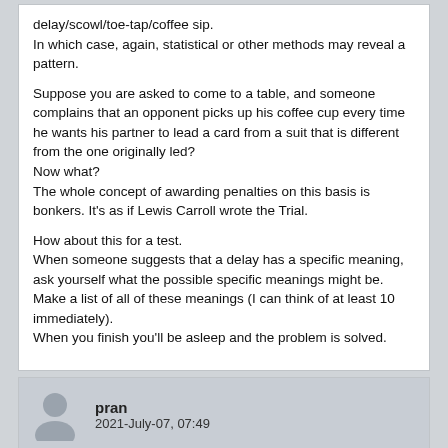delay/scowl/toe-tap/coffee sip.
In which case, again, statistical or other methods may reveal a pattern.

Suppose you are asked to come to a table, and someone complains that an opponent picks up his coffee cup every time he wants his partner to lead a card from a suit that is different from the one originally led?
Now what?
The whole concept of awarding penalties on this basis is bonkers. It's as if Lewis Carroll wrote the Trial.

How about this for a test.
When someone suggests that a delay has a specific meaning, ask yourself what the possible specific meanings might be.
Make a list of all of these meanings (I can think of at least 10 immediately).
When you finish you'll be asleep and the problem is solved.
pran
2021-July-07, 07:49
pran, on 2021-July-07, 04:42, said:
What about letting the player in question explain his delay (if it was